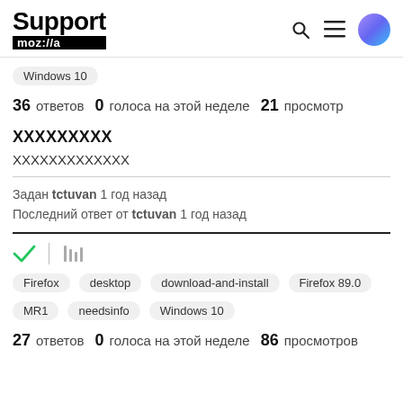Support mozilla
Windows 10
36 ответов   0  голоса на этой неделе   21  просмотр
XXXXXXXXX
XXXXXXXXXXXXX
Задан tctuvan 1 год назад
Последний ответ от tctuvan 1 год назад
Firefox  desktop  download-and-install  Firefox 89.0  MR1  needsinfo  Windows 10
27 ответов   0  голоса на этой неделе   86  просмотров